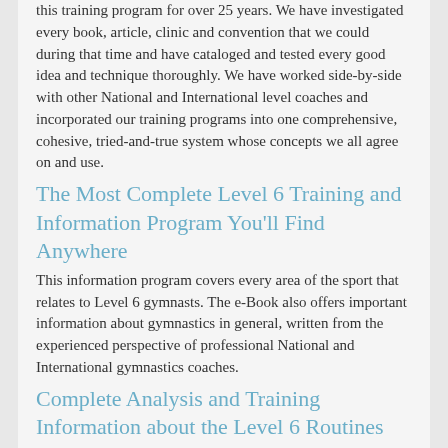this training program for over 25 years. We have investigated every book, article, clinic and convention that we could during that time and have cataloged and tested every good idea and technique thoroughly. We have worked side-by-side with other National and International level coaches and incorporated our training programs into one comprehensive, cohesive, tried-and-true system whose concepts we all agree on and use.
The Most Complete Level 6 Training and Information Program You'll Find Anywhere
This information program covers every area of the sport that relates to Level 6 gymnasts. The e-Book also offers important information about gymnastics in general, written from the experienced perspective of professional National and International gymnastics coaches.
Complete Analysis and Training Information about the Level 6 Routines
This program offers a complete detailed analysis of the Level 6 skills and routines, common errors, maximum amplitude analysis, learning progressions and drills to improve every aspect of the Level 6 competitive routines. This analysis is offered by coaches who train high level optional gymnasts and is designed to make your Level 6 experience not only